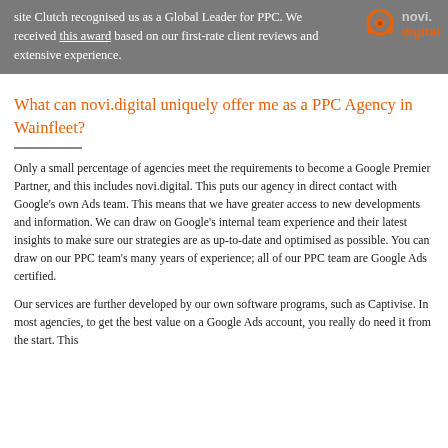site Clutch recognised us as a Global Leader for PPC. We received this award based on our first-rate client reviews and extensive experience.
[Figure (logo): novi.digital logo with orange headphone icon and text 'novi.' in gray and 'digital' in orange]
What can novi.digital uniquely offer me as a PPC Agency in Wainfleet?
Only a small percentage of agencies meet the requirements to become a Google Premier Partner, and this includes novi.digital. This puts our agency in direct contact with Google's own Ads team. This means that we have greater access to new developments and information. We can draw on Google's internal team experience and their latest insights to make sure our strategies are as up-to-date and optimised as possible. You can draw on our PPC team's many years of experience; all of our PPC team are Google Ads certified.
Our services are further developed by our own software programs, such as Captivise. In most agencies, to get the best value on a Google Ads account, you really do need it from the start. This